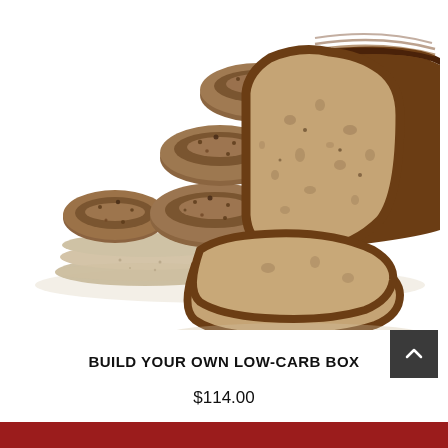[Figure (photo): Assorted low-carb baked goods on white background: a sliced loaf of whole grain bread fanned out on the right, with bagels and flat bread rounds stacked on the left.]
BUILD YOUR OWN LOW-CARB BOX
$114.00